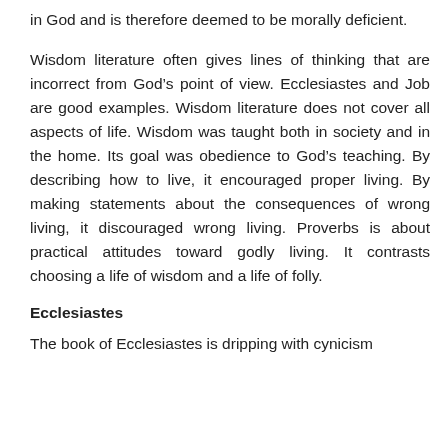in God and is therefore deemed to be morally deficient.
Wisdom literature often gives lines of thinking that are incorrect from God’s point of view. Ecclesiastes and Job are good examples. Wisdom literature does not cover all aspects of life. Wisdom was taught both in society and in the home. Its goal was obedience to God’s teaching. By describing how to live, it encouraged proper living. By making statements about the consequences of wrong living, it discouraged wrong living. Proverbs is about practical attitudes toward godly living. It contrasts choosing a life of wisdom and a life of folly.
Ecclesiastes
The book of Ecclesiastes is dripping with cynicism